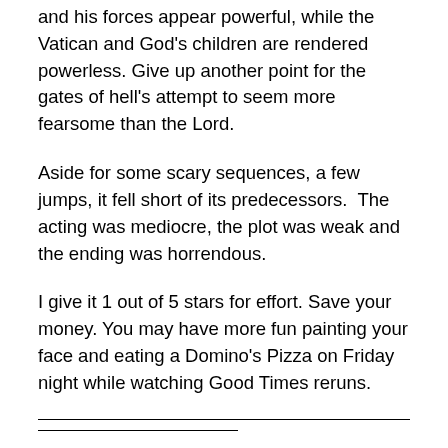and his forces appear powerful, while the Vatican and God's children are rendered powerless. Give up another point for the gates of hell's attempt to seem more fearsome than the Lord.
Aside for some scary sequences, a few jumps, it fell short of its predecessors.  The acting was mediocre, the plot was weak and the ending was horrendous.
I give it 1 out of 5 stars for effort. Save your money. You may have more fun painting your face and eating a Domino's Pizza on Friday night while watching Good Times reruns.
From Richard Grund: When I saw the trailer for The Devil Inside I was intrigued by the visuals and the claim the film